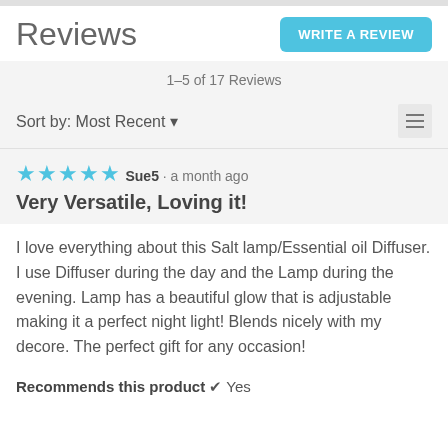Reviews
WRITE A REVIEW
1–5 of 17 Reviews
Sort by: Most Recent ▾
★★★★★
Sue5 · a month ago
Very Versatile, Loving it!
I love everything about this Salt lamp/Essential oil Diffuser. I use Diffuser during the day and the Lamp during the evening. Lamp has a beautiful glow that is adjustable making it a perfect night light! Blends nicely with my decore. The perfect gift for any occasion!
Recommends this product ✔ Yes